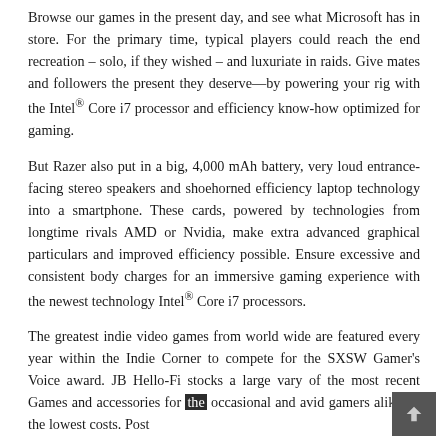Browse our games in the present day, and see what Microsoft has in store. For the primary time, typical players could reach the end recreation – solo, if they wished – and luxuriate in raids. Give mates and followers the present they deserve—by powering your rig with the Intel® Core i7 processor and efficiency know-how optimized for gaming.
But Razer also put in a big, 4,000 mAh battery, very loud entrance-facing stereo speakers and shoehorned efficiency laptop technology into a smartphone. These cards, powered by technologies from longtime rivals AMD or Nvidia, make extra advanced graphical particulars and improved efficiency possible. Ensure excessive and consistent body charges for an immersive gaming experience with the newest technology Intel® Core i7 processors.
The greatest indie video games from world wide are featured every year within the Indie Corner to compete for the SXSW Gamer's Voice award. JB Hello-Fi stocks a large vary of the most recent Games and accessories for the occasional and avid gamers alike on the lowest costs. Post